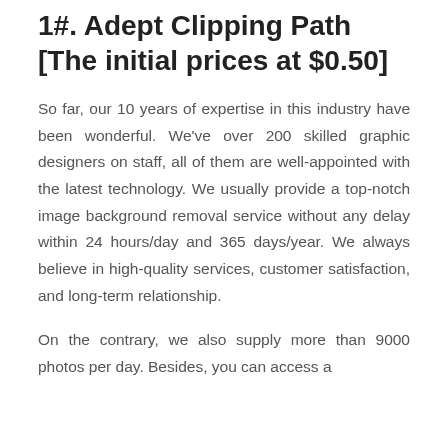1#. Adept Clipping Path [The initial prices at $0.50]
So far, our 10 years of expertise in this industry have been wonderful. We've over 200 skilled graphic designers on staff, all of them are well-appointed with the latest technology. We usually provide a top-notch image background removal service without any delay within 24 hours/day and 365 days/year. We always believe in high-quality services, customer satisfaction, and long-term relationship.
On the contrary, we also supply more than 9000 photos per day. Besides, you can access a